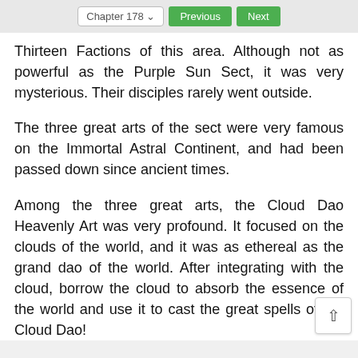Chapter 178  Previous  Next
Thirteen Factions of this area. Although not as powerful as the Purple Sun Sect, it was very mysterious. Their disciples rarely went outside.
The three great arts of the sect were very famous on the Immortal Astral Continent, and had been passed down since ancient times.
Among the three great arts, the Cloud Dao Heavenly Art was very profound. It focused on the clouds of the world, and it was as ethereal as the grand dao of the world. After integrating with the cloud, borrow the cloud to absorb the essence of the world and use it to cast the great spells of the Cloud Dao!